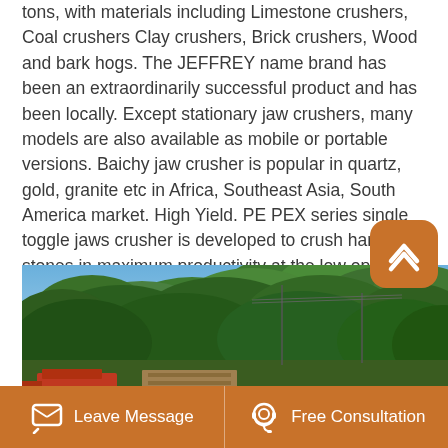tons, with materials including Limestone crushers, Coal crushers Clay crushers, Brick crushers, Wood and bark hogs. The JEFFREY name brand has been an extraordinarily successful product and has been locally. Except stationary jaw crushers, many models are also available as mobile or portable versions. Baichy jaw crusher is popular in quartz, gold, granite etc in Africa, Southeast Asia, South America market. High Yield. PE PEX series single toggle jaws crusher is developed to crush hard stones in maximum productivity at the low operating costs.
[Figure (photo): Outdoor photo showing large green trees with a blue sky background and construction/industrial equipment and red machinery partially visible at the bottom.]
Leave Message   Free Consultation